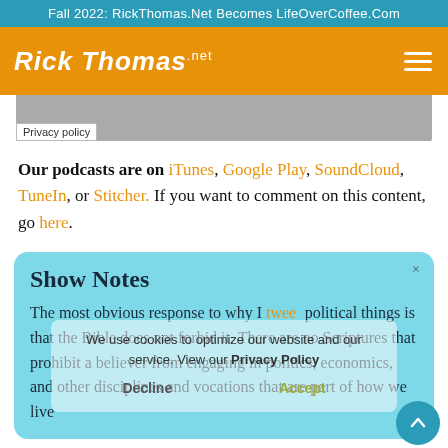Fall 2022: RickThomas.Net Becomes LifeOverCoffee.Com
[Figure (logo): RickThomas.net logo in white script on orange background with hamburger menu icon]
[Figure (other): Gray placeholder image area with Privacy policy label]
Our podcasts are on iTunes, Google Play, SoundCloud, TuneIn, or Stitcher. If you want to comment on this content, go here.
Show Notes
The most obvious response to why I tweet political things is that the Bible does not forbid it. There are no Scriptures that prohibit a believer from engaging in politics, economics, and other disciplines and vocations that are part of how we live